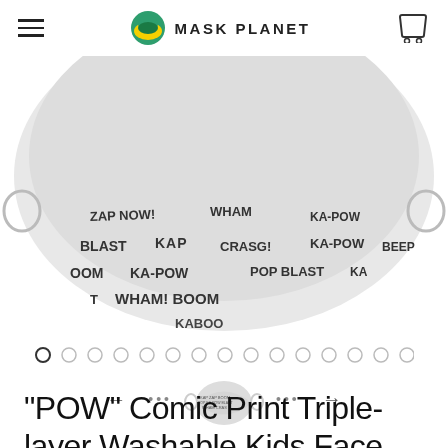MASK PLANET
[Figure (photo): Close-up of a grey face mask with comic-book style text printed on it: ZAP, KA-POW, BLAST, CRASG!, BOOM, WHAM!, POP, BEEP, showing the lower half of the mask in a large view]
[Figure (other): Image carousel navigation dots - 15 circles, first one filled/active]
[Figure (photo): Thumbnail image of a grey comic print kids face mask with ear loops, showing the full mask from the front]
"POW" Comic Print Triple-layer Washable Kids Face